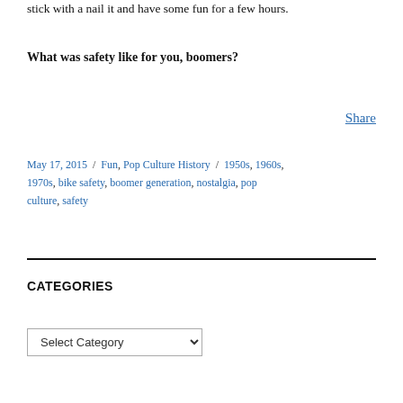stick with a nail it and have some fun for a few hours.
What was safety like for you, boomers?
Share
May 17, 2015 / Fun, Pop Culture History / 1950s, 1960s, 1970s, bike safety, boomer generation, nostalgia, pop culture, safety
CATEGORIES
Select Category